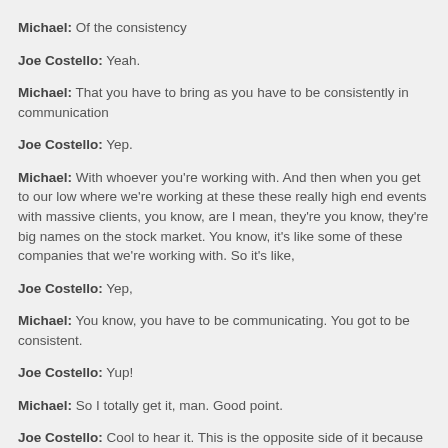Michael: Of the consistency
Joe Costello: Yeah.
Michael: That you have to bring as you have to be consistently in communication
Joe Costello: Yep.
Michael: With whoever you're working with. And then when you get to our low where we're working at these these really high end events with massive clients, you know, are I mean, they're you know, they're big names on the stock market. You know, it's like some of these companies that we're working with. So it's like,
Joe Costello: Yep,
Michael: You know, you have to be communicating. You got to be consistent.
Joe Costello: Yup!
Michael: So I totally get it, man. Good point.
Joe Costello: Cool to hear it. This is the opposite side of it because we talked about what what has made you successful and what we both agree on. But what do you think causes so